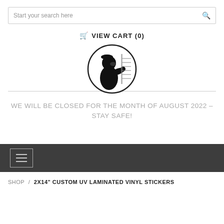Start your search here
VIEW CART (0)
[Figure (logo): Circular logo with black silhouette illustration of a figure (possibly a raccoon or masked character) peering around a door or wall]
WE WILL BE CLOSED FOR THE MONTH OF AUGUST 2022 – STAY SAFE!
SHOP / 2X14" CUSTOM UV LAMINATED VINYL STICKERS